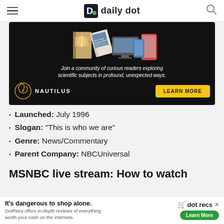daily dot
[Figure (illustration): Nautilus magazine advertisement with books/devices and text: Join a community of curious readers exploring scientific subjects in profound, unexpected ways. NAUTILUS LEARN MORE]
Launched: July 1996
Slogan: “This is who we are”
Genre: News/Commentary
Parent Company: NBCUniversal
MSNBC live stream: How to watch
[Figure (illustration): Bottom ad bar: It's dangerous to shop alone. dot recs - DotRecs offers in-depth reviews of everything worth your cash on the internets. Learn More]